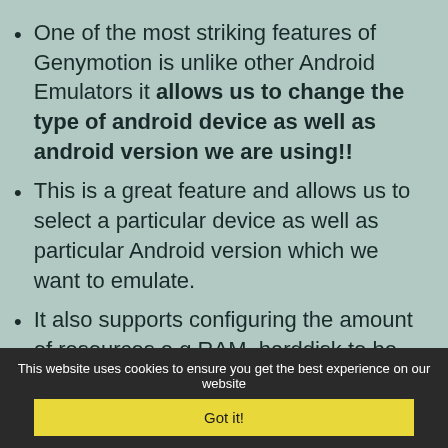One of the most striking features of Genymotion is unlike other Android Emulators it allows us to change the type of android device as well as android version we are using!!
This is a great feature and allows us to select a particular device as well as particular Android version which we want to emulate.
It also supports configuring the amount of resources e.g RAM ,harddisk to be
This website uses cookies to ensure you get the best experience on our website